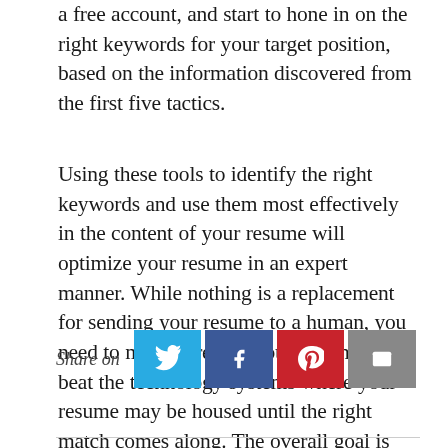a free account, and start to hone in on the right keywords for your target position, based on the information discovered from the first five tactics.
Using these tools to identify the right keywords and use them most effectively in the content of your resume will optimize your resume in an expert manner. While nothing is a replacement for sending your resume to a human, you need to make sure that your resume can beat the technology systems where your resume may be housed until the right match comes along. The overall goal is for your resume to quickly be found in a technical search.
Share on